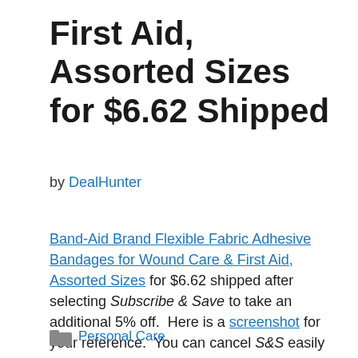First Aid, Assorted Sizes for $6.62 Shipped
by DealHunter
Band-Aid Brand Flexible Fabric Adhesive Bandages for Wound Care & First Aid, Assorted Sizes for $6.62 shipped after selecting Subscribe & Save to take an additional 5% off. Here is a screenshot for your reference. You can cancel S&S easily with no obligations after your order ships.
Personal Care